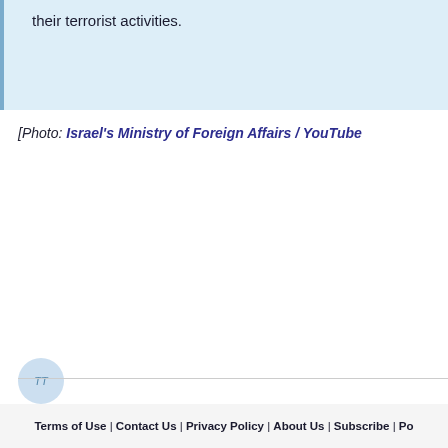their terrorist activities.
[Photo: Israel's Ministry of Foreign Affairs / YouTube
[Figure (other): Small circular avatar placeholder icon with quotation marks]
Terms of Use | Contact Us | Privacy Policy | About Us | Subscribe | Po...